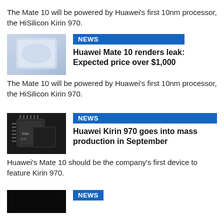The Mate 10 will be powered by Huawei's first 10nm processor, the HiSilicon Kirin 970.
[Figure (photo): Photo of Huawei Mate 10 smartphone, silver/blue color]
NEWS
Huawei Mate 10 renders leak: Expected price over $1,000
The Mate 10 will be powered by Huawei's first 10nm processor, the HiSilicon Kirin 970.
[Figure (photo): Photo of HiSilicon Kirin 970 chip, dark colored processor]
NEWS
Huawei Kirin 970 goes into mass production in September
Huawei's Mate 10 should be the company's first device to feature Kirin 970.
[Figure (photo): Partially visible image, black background with NEWS badge]
NEWS